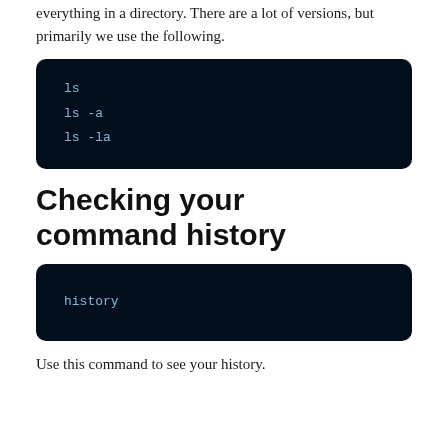everything in a directory. There are a lot of versions, but primarily we use the following.
[Figure (screenshot): Dark code block showing terminal commands: ls, ls -a, ls -la]
Checking your command history
[Figure (screenshot): Dark code block showing terminal command: history]
Use this command to see your history.